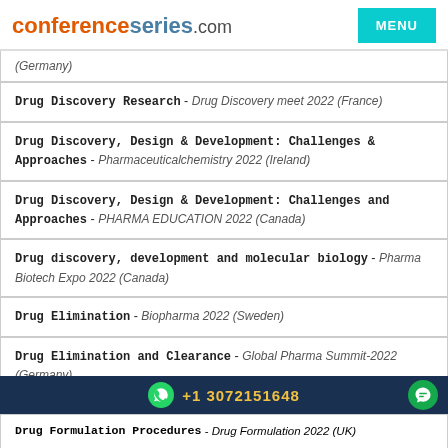conferenceseries.com — MENU
(Germany)
Drug Discovery Research - Drug Discovery meet 2022 (France)
Drug Discovery, Design & Development: Challenges & Approaches - Pharmaceuticalchemistry 2022 (Ireland)
Drug Discovery, Design & Development: Challenges and Approaches - PHARMA EDUCATION 2022 (Canada)
Drug discovery, development and molecular biology - Pharma Biotech Expo 2022 (Canada)
Drug Elimination - Biopharma 2022 (Sweden)
Drug Elimination and Clearance - Global Pharma Summit-2022 (Germany)
+1 3072151648
Drug Formulation Procedures - Drug Formulation 2022 (UK)